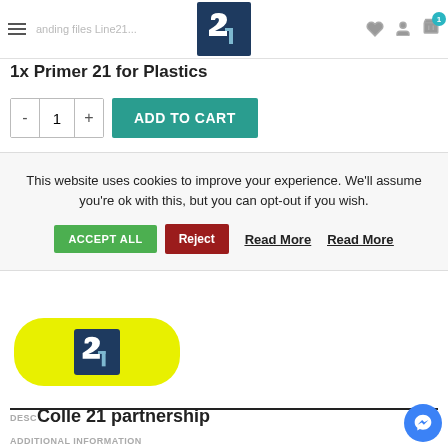Sanding files Line21. [Logo] [heart] [user] [cart 1]
1x Primer 21 for Plastics
- 1 + ADD TO CART
This website uses cookies to improve your experience. We'll assume you're ok with this, but you can opt-out if you wish. ACCEPT ALL  Reject  Read More  Read More
[Figure (logo): Colle21 logo in dark blue square with '21' numerals, displayed inside a yellow rounded rectangle badge]
DESCRIPTION   Colle 21 partnership
ADDITIONAL INFORMATION